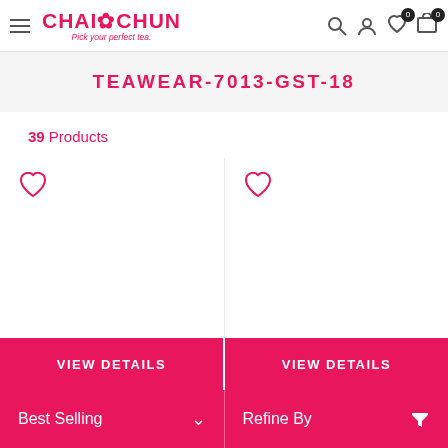CHAI CHUN — Pick your perfect tea. [Navigation with search, account, wishlist, cart icons]
TEAWEAR-7013-GST-18
39  Products
[Figure (screenshot): Two empty product card areas each with a pink heart/wishlist icon in the top-left corner]
VIEW DETAILS
VIEW DETAILS
Best Selling  ∨     Refine By  filter-icon